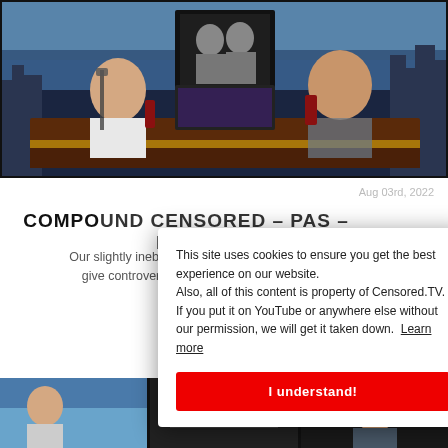[Figure (photo): Two men sitting at a broadcast desk in a TV studio with city skyline backdrop, vintage photos on the wall behind them, holding bottles]
Aug 03rd, 2022
COMPOUND CENSORED – PAS – NSFW
Our slightly inebriated roundtable discussions give controversial opinions and ratings to make ...
[Figure (photo): Cookie consent modal overlay with text about cookies and content ownership policy]
[Figure (photo): Bottom thumbnail strip showing multiple video thumbnails]